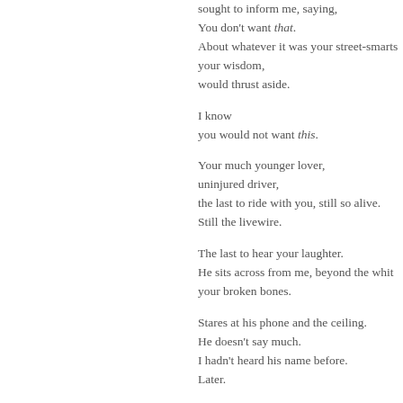sought to inform me, saying,
You don't want that.
About whatever it was your street-smarts
your wisdom,
would thrust aside.

I know
you would not want this.

Your much younger lover,
uninjured driver,
the last to ride with you, still so alive.
Still the livewire.

The last to hear your laughter.
He sits across from me, beyond the whit
your broken bones.

Stares at his phone and the ceiling.
He doesn't say much.
I hadn't heard his name before.
Later.